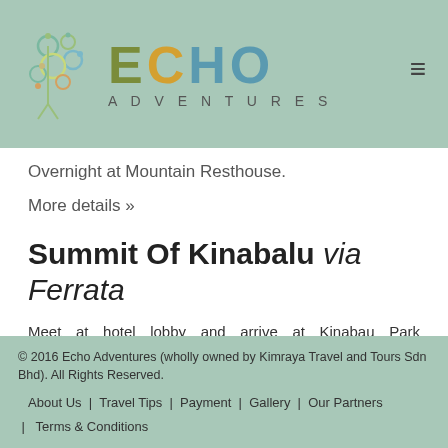ECHO ADVENTURES
Overnight at Mountain Resthouse.
More details »
Summit Of Kinabalu via Ferrata
Meet at hotel lobby and arrive at Kinabau Park HQ.Register at Mountain Torq's and Kinabau Park's offices. Meet your appointed Sabah Parks' mountain guide. Start hiking up Mt
© 2016 Echo Adventures (wholly owned by Kimraya Travel and Tours Sdn Bhd). All Rights Reserved. About Us | Travel Tips | Payment | Gallery | Our Partners | Terms & Conditions